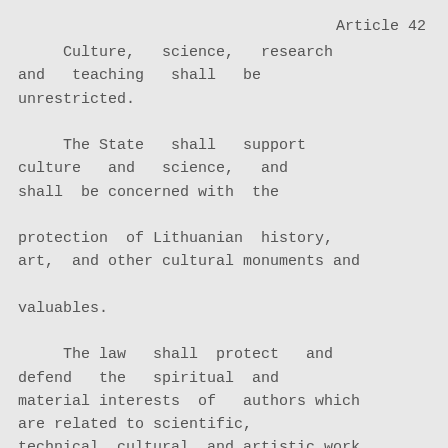Article 42
Culture, science, research and teaching shall be unrestricted.

The State shall support culture and science, and shall be concerned with the protection of Lithuanian history, art, and other cultural monuments and valuables.

The law shall protect and defend the spiritual and material interests of authors which are related to scientific, technical, cultural, and artistic work.